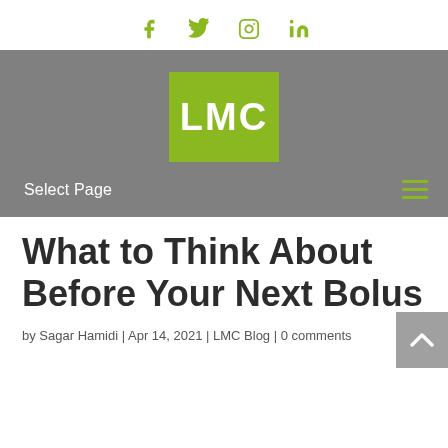[Figure (logo): Social media icons: Facebook, Twitter, Instagram, LinkedIn in olive/green color]
[Figure (logo): LMC logo — white LMC text on olive/green square background, centered in a gray navigation bar with Select Page dropdown and hamburger menu]
What to Think About Before Your Next Bolus
by Sagar Hamidi | Apr 14, 2021 | LMC Blog | 0 comments